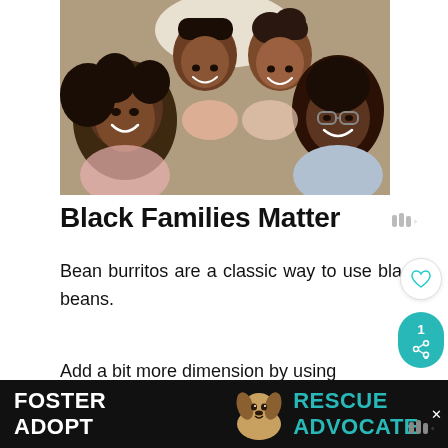[Figure (photo): Overhead view of a Black family of four (two adults, two children) lying on a bed smiling up at the camera]
Black Families Matter
Bean burritos are a classic way to use black beans.
Add a bit more dimension by using and kale in this recipe.
[Figure (infographic): Footer advertisement: Foster Adopt Rescue Advocate with a beagle dog image]
[Figure (infographic): What's Next promo: 21 Sous Vide Recipes: Ea...]